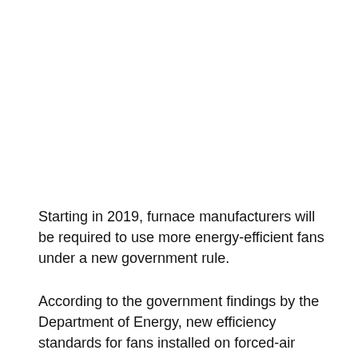Starting in 2019, furnace manufacturers will be required to use more energy-efficient fans under a new government rule.
According to the government findings by the Department of Energy, new efficiency standards for fans installed on forced-air furnaces will reduce power consumption by as much as 46% and save